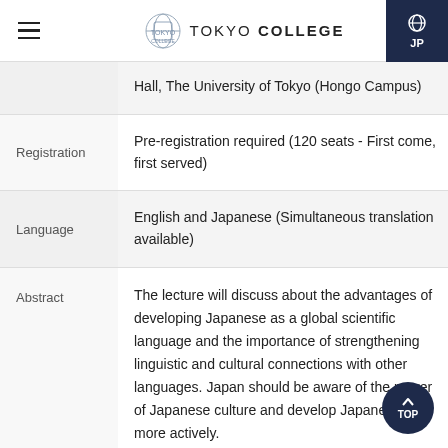TOKYO COLLEGE
| Label | Content |
| --- | --- |
|  | Hall, The University of Tokyo (Hongo Campus) |
| Registration | Pre-registration required (120 seats - First come, first served) |
| Language | English and Japanese (Simultaneous translation available) |
| Abstract | The lecture will discuss about the advantages of developing Japanese as a global scientific language and the importance of strengthening linguistic and cultural connections with other languages. Japan should be aware of the power of Japanese culture and develop Japanese more actively. |